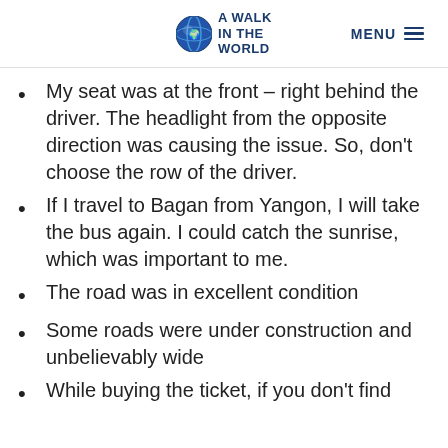A Walk In The World | MENU
My seat was at the front – right behind the driver. The headlight from the opposite direction was causing the issue. So, don't choose the row of the driver.
If I travel to Bagan from Yangon, I will take the bus again. I could catch the sunrise, which was important to me.
The road was in excellent condition
Some roads were under construction and unbelievably wide
While buying the ticket, if you don't find